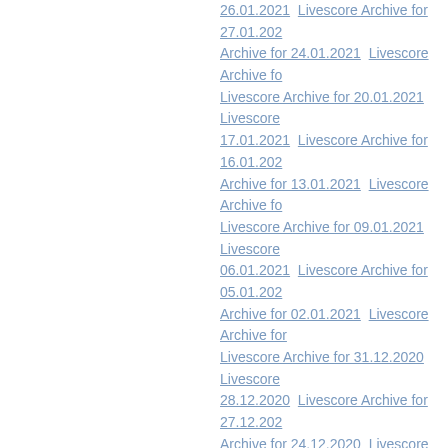26.01.2021  Livescore Archive for 27.01.202... Archive for 24.01.2021  Livescore Archive fo... Livescore Archive for 20.01.2021  Livescore... 17.01.2021  Livescore Archive for 16.01.202... Archive for 13.01.2021  Livescore Archive fo... Livescore Archive for 09.01.2021  Livescore... 06.01.2021  Livescore Archive for 05.01.202... Archive for 02.01.2021  Livescore Archive for... Livescore Archive for 31.12.2020  Livescore... 28.12.2020  Livescore Archive for 27.12.202... Archive for 24.12.2020  Livescore Archive fo... Livescore Archive for 20.12.2020  Livescore... 17.12.2020  Livescore Archive for 16.12.202... Archive for 13.12.2020  Livescore Archive fo... Livescore Archive for 09.12.2020  Livescore... 06.12.2020  Livescore Archive for 05.12.202... Archive for 02.12.2020  Livescore Archive for... Livescore Archive for 30.11.2020  Livescore... 27.11.2020  Livescore Archive for 26.11.202... Archive for 23.11.2020  Livescore Archive fo... Livescore Archive for 19.11.2020  Livescore... 16.11.2020  Livescore Archive for 15.11.202... Archive for 12.11.2020  Livescore Archive fo... Livescore Archive for 08.11.2020  Livescore... 05.11.2020  Livescore Archive for 04.11.202... Archive for 01.11.2020